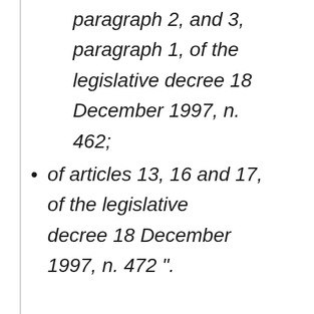paragraph 2, and 3, paragraph 1, of the legislative decree 18 December 1997, n. 462;
of articles 13, 16 and 17, of the legislative decree 18 December 1997, n. 472 ".